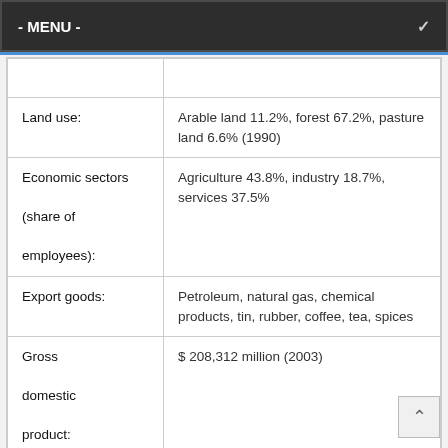- MENU -
| Land use: | Arable land 11.2%, forest 67.2%, pasture land 6.6% (1990) |
| Economic sectors (share of employees): | Agriculture 43.8%, industry 18.7%, services 37.5% |
| Export goods: | Petroleum, natural gas, chemical products, tin, rubber, coffee, tea, spices |
| Gross domestic product: | $ 208,312 million (2003) |
| Gross National Product: | US $ 810 / residents (2003) |